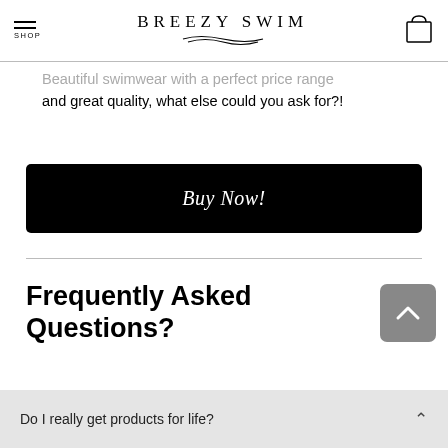BREEZY SWIM
Beautiful swimwear with a perfect price range and great quality, what else could you ask for?!
Buy Now!
Frequently Asked Questions?
Do I really get products for life?